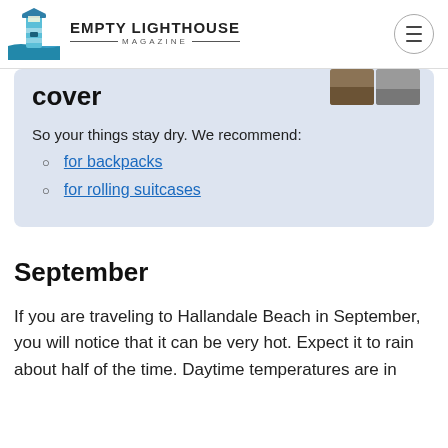EMPTY LIGHTHOUSE MAGAZINE
cover
So your things stay dry. We recommend:
for backpacks
for rolling suitcases
September
If you are traveling to Hallandale Beach in September, you will notice that it can be very hot. Expect it to rain about half of the time. Daytime temperatures are in